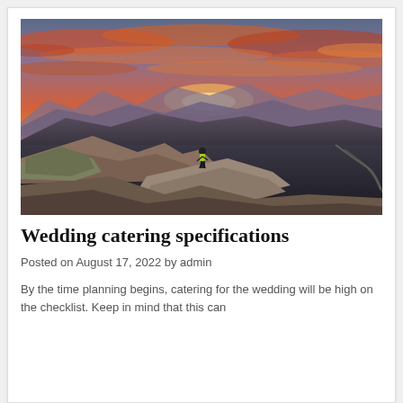[Figure (photo): A person standing on a rocky mountain cliff edge overlooking a dramatic mountain range with a vivid orange and red sunset sky above.]
Wedding catering specifications
Posted on August 17, 2022 by admin
By the time planning begins, catering for the wedding will be high on the checklist. Keep in mind that this can